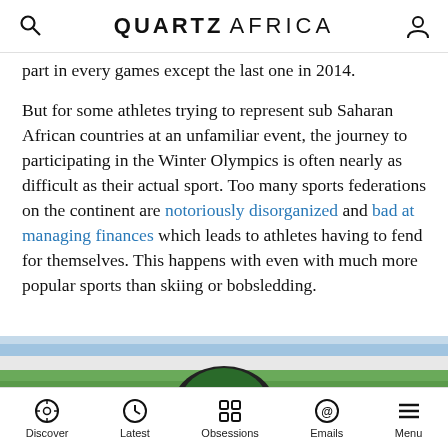QUARTZ AFRICA
part in every games except the last one in 2014.
But for some athletes trying to represent sub Saharan African countries at an unfamiliar event, the journey to participating in the Winter Olympics is often nearly as difficult as their actual sport. Too many sports federations on the continent are notoriously disorganized and bad at managing finances which leads to athletes having to fend for themselves. This happens with even with much more popular sports than skiing or bobsledding.
[Figure (photo): Athlete in a helmet with green and white colors, likely a bobsled or skiing competitor at the Winter Olympics]
Discover | Latest | Obsessions | Emails | Menu